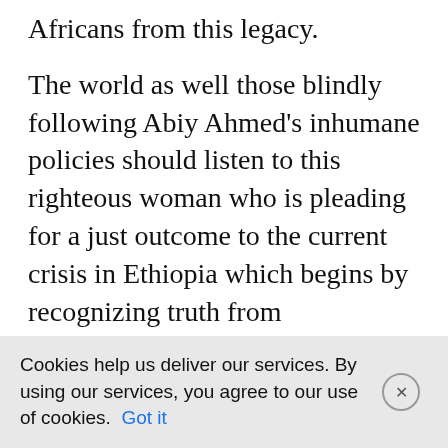Africans from this legacy.
The world as well those blindly following Abiy Ahmed's inhumane policies should listen to this righteous woman who is pleading for a just outcome to the current crisis in Ethiopia which begins by recognizing truth from propaganda.
Professor Tony Magana / December 30, 2021 / abiy ahmed intentions towards tigray, critic of Abiy Ahmed's tigray war, ethiopia tigray conflict, Filsan Abdi, Filsun Abdullahi Ahmed, violations of women in Tigray / Leave a comment
Cookies help us deliver our services. By using our services, you agree to our use of cookies. Got it